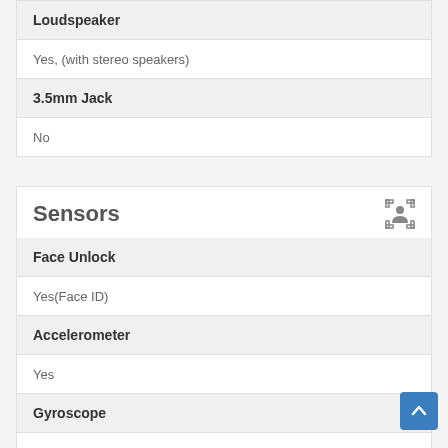| Feature | Value |
| --- | --- |
| Loudspeaker | Yes, (with stereo speakers) |
| 3.5mm Jack | No |
Sensors
| Feature | Value |
| --- | --- |
| Face Unlock | Yes(Face ID) |
| Accelerometer | Yes |
| Gyroscope | Yes |